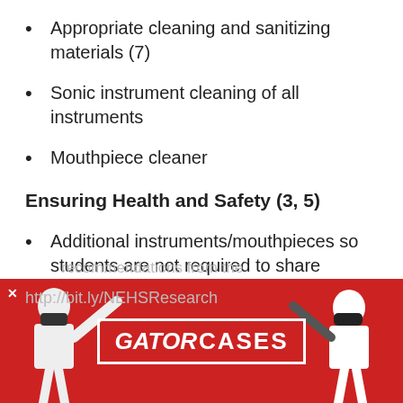Appropriate cleaning and sanitizing materials (7)
Sonic instrument cleaning of all instruments
Mouthpiece cleaner
Ensuring Health and Safety (3, 5)
Additional instruments/mouthpieces so students are not required to share
Items referenced in the recommendations from the
http://bit.ly/NEHSResearch
[Figure (photo): Gator Cases advertisement banner with red background showing two people with instruments and masks, with the Gator Cases logo in the center]